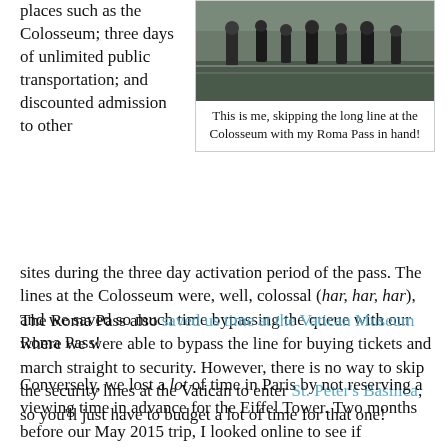places such as the Colosseum; three days of unlimited public transportation; and discounted admission to other
[Figure (photo): Photo of people in a queue at the Colosseum]
This is me, skipping the long line at the Colosseum with my Roma Pass in hand!
sites during the three day activation period of the pass. The lines at the Colosseum were, well, colossal (har, har, har), and we saved so much time bypassing the queue with our Roma Pass!
The Roma Pass also saved us time at the Vatican Museum where we were able to bypass the line for buying tickets and march straight to security. However, there is no way to skip the security lines at the Vatican to enter St. Peter's Basilica, so you'll just have to budget a lot of time for that one!
Conversely, we lost a lot of time in Paris by not reserving a viewing time in advance for the Eiffel Tower. Two months before our May 2015 trip, I looked online to see if reservations were possible. They were... but they were already completely booked for May. So as soon as you book your plane tickets, book your tickets for various attractions!